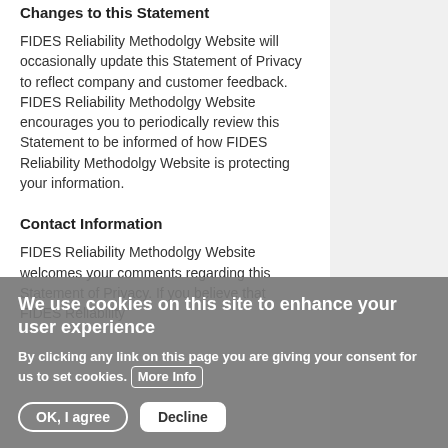Changes to this Statement
FIDES Reliability Methodolgy Website will occasionally update this Statement of Privacy to reflect company and customer feedback. FIDES Reliability Methodolgy Website encourages you to periodically review this Statement to be informed of how FIDES Reliability Methodolgy Website is protecting your information.
Contact Information
FIDES Reliability Methodolgy Website welcomes your comments regarding this Statement of Privacy. If you believe that FIDES Reliability
We use cookies on this site to enhance your user experience
By clicking any link on this page you are giving your consent for us to set cookies. More Info
OK, I agree   Decline